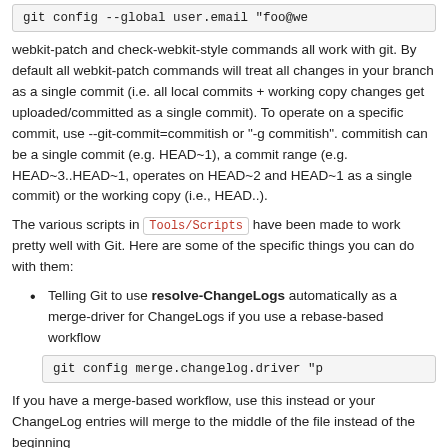[Figure (screenshot): Code block showing: git config --global user.email "foo@we]
webkit-patch and check-webkit-style commands all work with git. By default all webkit-patch commands will treat all changes in your branch as a single commit (i.e. all local commits + working copy changes get uploaded/committed as a single commit). To operate on a specific commit, use --git-commit=commitish or "-g commitish". commitish can be a single commit (e.g. HEAD~1), a commit range (e.g. HEAD~3..HEAD~1, operates on HEAD~2 and HEAD~1 as a single commit) or the working copy (i.e., HEAD..).
The various scripts in Tools/Scripts have been made to work pretty well with Git. Here are some of the specific things you can do with them:
Telling Git to use resolve-ChangeLogs automatically as a merge-driver for ChangeLogs if you use a rebase-based workflow
[Figure (screenshot): Code block showing: git config merge.changelog.driver "p]
If you have a merge-based workflow, use this instead or your ChangeLog entries will merge to the middle of the file instead of the beginning
[Figure (screenshot): Code block showing: git config merge.changelog.driver "perl T]
Teaching Git to produce better diffs of ObjC files
[Figure (screenshot): Partial code block at bottom (cut off)]